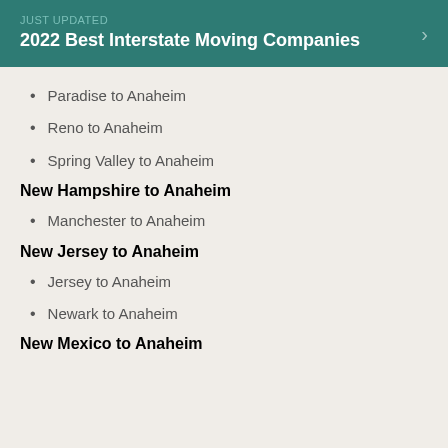JUST UPDATED
2022 Best Interstate Moving Companies
Paradise to Anaheim
Reno to Anaheim
Spring Valley to Anaheim
New Hampshire to Anaheim
Manchester to Anaheim
New Jersey to Anaheim
Jersey to Anaheim
Newark to Anaheim
New Mexico to Anaheim